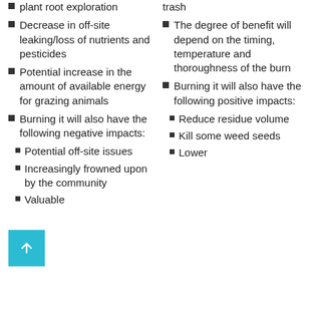plant root exploration
Decrease in off-site leaking/loss of nutrients and pesticides
Potential increase in the amount of available energy for grazing animals
Burning it will also have the following negative impacts:
Potential off-site issues
Increasingly frowned upon by the community
Valuable
trash
The degree of benefit will depend on the timing, temperature and thoroughness of the burn
Burning it will also have the following positive impacts:
Reduce residue volume
Kill some weed seeds
Lower